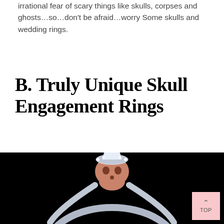irrational fear of scary things like skulls, corpses and ghosts…so…don't be afraid…worry Some skulls and wedding rings.
B. Truly Unique Skull Engagement Rings
[Figure (photo): A skull engagement ring with a diamond set on top of a rose gold skull, on a silver band, photographed against a black background. A pink 'TOP' button is visible in the bottom right corner.]